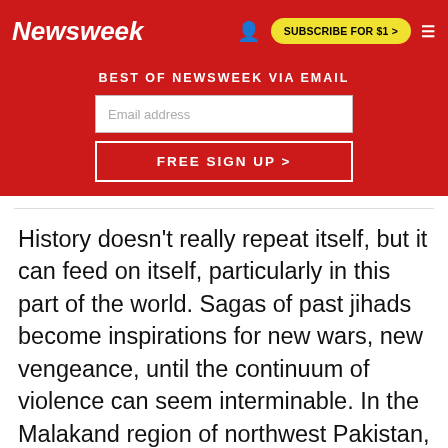Newsweek
BEST OF NEWSWEEK VIA EMAIL
[Figure (other): Email signup form with input field and FREE SIGN UP button]
History doesn't really repeat itself, but it can feed on itself, particularly in this part of the world. Sagas of past jihads become inspirations for new wars, new vengeance, until the continuum of violence can seem interminable. In the Malakand region of northwest Pakistan, where the Taliban today